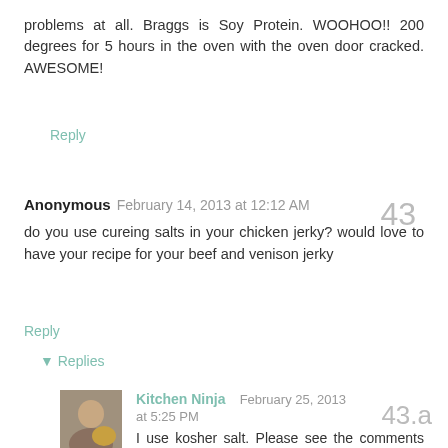problems at all. Braggs is Soy Protein. WOOHOO!! 200 degrees for 5 hours in the oven with the oven door cracked. AWESOME!
Reply
Anonymous February 14, 2013 at 12:12 AM
do you use cureing salts in your chicken jerky? would love to have your recipe for your beef and venison jerky
Reply
▾ Replies
Kitchen Ninja February 25, 2013 at 5:25 PM
I use kosher salt. Please see the comments above, in which I gave my recipe for venison jerky. Let me know if you try it!!